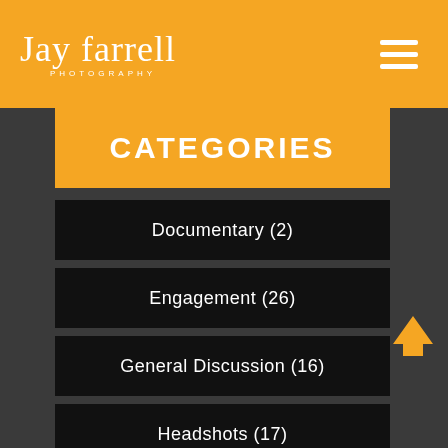Jay Farrell Photography
CATEGORIES
Documentary (2)
Engagement (26)
General Discussion (16)
Headshots (17)
Home (1)
Lifestyle (4)